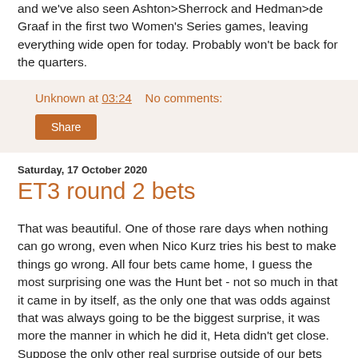and we've also seen Ashton>Sherrock and Hedman>de Graaf in the first two Women's Series games, leaving everything wide open for today. Probably won't be back for the quarters.
Unknown at 03:24   No comments:
Share
Saturday, 17 October 2020
ET3 round 2 bets
That was beautiful. One of those rare days when nothing can go wrong, even when Nico Kurz tries his best to make things go wrong. All four bets came home, I guess the most surprising one was the Hunt bet - not so much in that it came in by itself, as the only one that was odds against that was always going to be the biggest surprise, it was more the manner in which he did it, Heta didn't get close. Suppose the only other real surprise outside of our bets was Ricardo Pietreczko steamrollering a somewhat out of sorts Luke